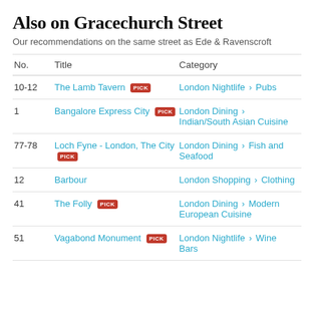Also on Gracechurch Street
Our recommendations on the same street as Ede & Ravenscroft
| No. | Title | Category |
| --- | --- | --- |
| 10-12 | The Lamb Tavern [PICK] | London Nightlife > Pubs |
| 1 | Bangalore Express City [PICK] | London Dining > Indian/South Asian Cuisine |
| 77-78 | Loch Fyne - London, The City [PICK] | London Dining > Fish and Seafood |
| 12 | Barbour | London Shopping > Clothing |
| 41 | The Folly [PICK] | London Dining > Modern European Cuisine |
| 51 | Vagabond Monument [PICK] | London Nightlife > Wine Bars |